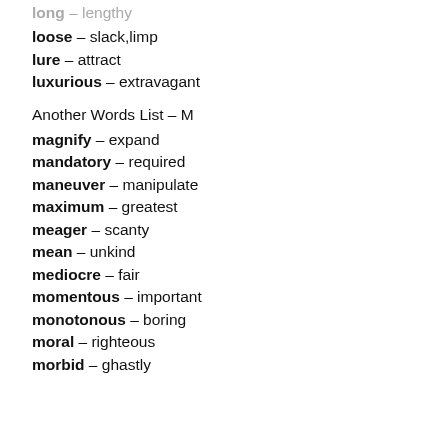long – lengthy
loose – slack,limp
lure – attract
luxurious – extravagant
Another Words List – M
magnify – expand
mandatory – required
maneuver – manipulate
maximum – greatest
meager – scanty
mean – unkind
mediocre – fair
momentous – important
monotonous – boring
moral – righteous
morbid – ghastly